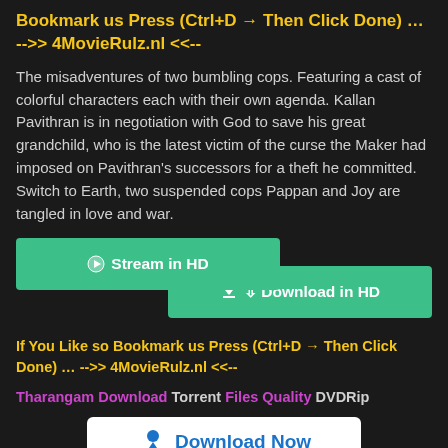Bookmark us Press (Ctrl+D → Then Click Done) … -->> 4MovieRulz.nl <<--
The misadventures of two bumbling cops. Featuring a cast of colorful characters each with their own agenda. Kallan Pavithran is in negotiation with God to save his great grandchild, who is the latest victim of the curse the Maker had imposed on Pavithran's successors for a theft he committed. Switch to Earth, two suspended cops Pappan and Joy are tangled in love and war.
[Figure (other): Stream in HD button (teal/green)]
[Figure (other): Download in HD button (teal/green)]
If You Like so Bookmark us Press (Ctrl+D → Then Click Done) … -->> 4MovieRulz.nl <<--
Tharangam Download Torrent Files Quality DVDRip
[Figure (other): Download Now button (white background, blue icon and text)]